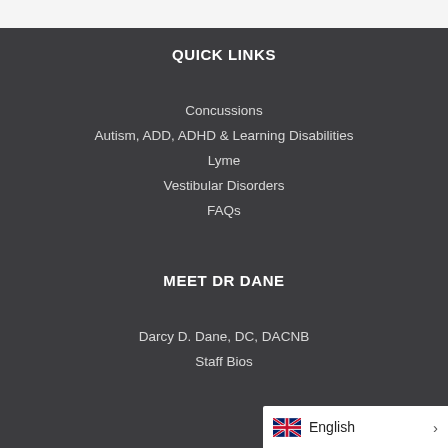QUICK LINKS
Concussions
Autism, ADD, ADHD & Learning Disabilities
Lyme
Vestibular Disorders
FAQs
MEET DR DANE
Darcy D. Dane, DC, DACNB
Staff Bios
English